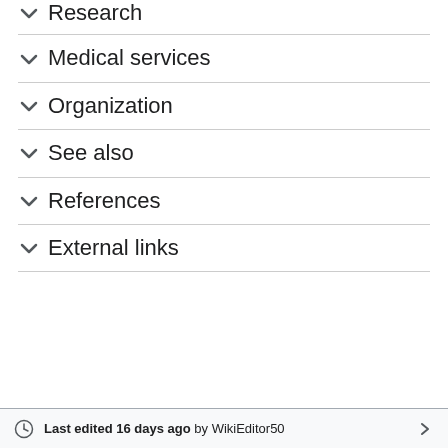Research
Medical services
Organization
See also
References
External links
Last edited 16 days ago by WikiEditor50